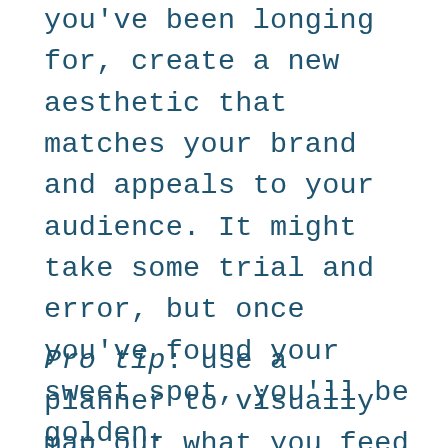you've been longing for, create a new aesthetic that matches your brand and appeals to your audience. It might take some trial and error, but once you've found your sweet spot, you'll be golden.
Pro tip: use a planner to visually map out what you feed